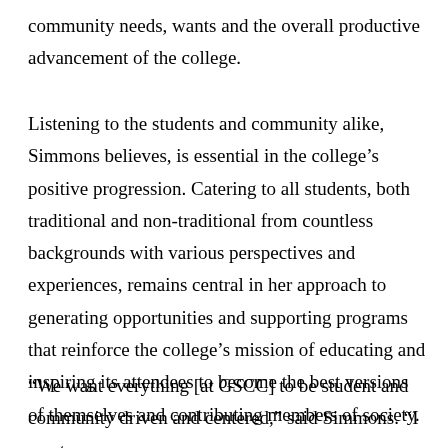community needs, wants and the overall productive advancement of the college.
Listening to the students and community alike, Simmons believes, is essential in the college's positive progression. Catering to all students, both traditional and non-traditional from countless backgrounds with various perspectives and experiences, remains central in her approach to generating opportunities and supporting programs that reinforce the college's mission of educating and inspiring its attendees to become the best versions of themselves and contributing members of society.
“We want everything [at GSCC] to be student and community driven and centered,” said Simmons. “I want